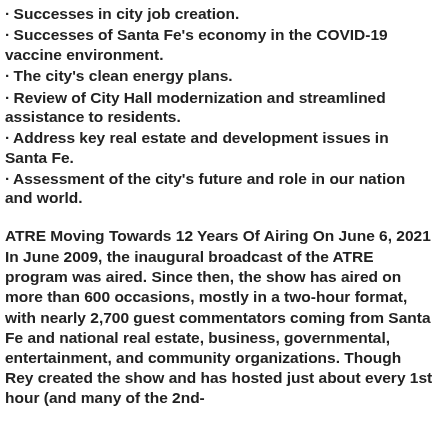· Successes in city job creation.
· Successes of Santa Fe's economy in the COVID-19 vaccine environment.
· The city's clean energy plans.
· Review of City Hall modernization and streamlined assistance to residents.
· Address key real estate and development issues in Santa Fe.
· Assessment of the city's future and role in our nation and world.
ATRE Moving Towards 12 Years Of Airing On June 6, 2021
In June 2009, the inaugural broadcast of the ATRE program was aired. Since then, the show has aired on more than 600 occasions, mostly in a two-hour format, with nearly 2,700 guest commentators coming from Santa Fe and national real estate, business, governmental, entertainment, and community organizations. Though Rey created the show and has hosted just about every 1st hour (and many of the 2nd-